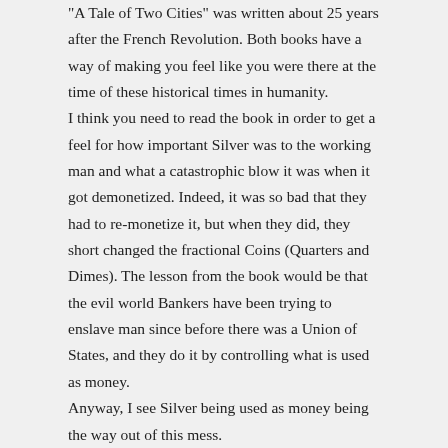“A Tale of Two Cities” was written about 25 years after the French Revolution. Both books have a way of making you feel like you were there at the time of these historical times in humanity.
I think you need to read the book in order to get a feel for how important Silver was to the working man and what a catastrophic blow it was when it got demonetized. Indeed, it was so bad that they had to re-monetize it, but when they did, they short changed the fractional Coins (Quarters and Dimes). The lesson from the book would be that the evil world Bankers have been trying to enslave man since before there was a Union of States, and they do it by controlling what is used as money.
Anyway, I see Silver being used as money being the way out of this mess.
beaconterraone says:
12/13/2021 at 3:36 pm
The trouble with silver, or any of the precious metals, is that real-world, in-your-hand silver is pegged to the FAKE silver